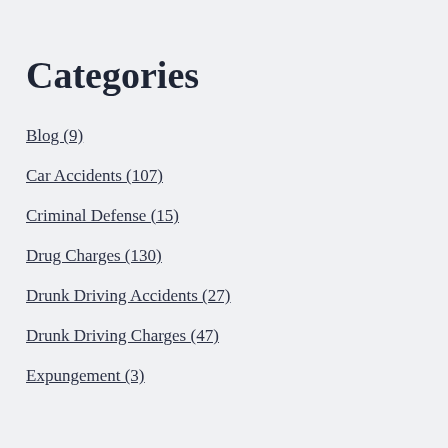Categories
Blog (9)
Car Accidents (107)
Criminal Defense (15)
Drug Charges (130)
Drunk Driving Accidents (27)
Drunk Driving Charges (47)
Expungement (3)